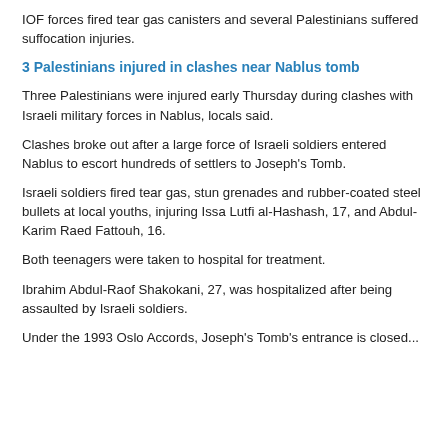IOF forces fired tear gas canisters and several Palestinians suffered suffocation injuries.
3 Palestinians injured in clashes near Nablus tomb
Three Palestinians were injured early Thursday during clashes with Israeli military forces in Nablus, locals said.
Clashes broke out after a large force of Israeli soldiers entered Nablus to escort hundreds of settlers to Joseph's Tomb.
Israeli soldiers fired tear gas, stun grenades and rubber-coated steel bullets at local youths, injuring Issa Lutfi al-Hashash, 17, and Abdul-Karim Raed Fattouh, 16.
Both teenagers were taken to hospital for treatment.
Ibrahim Abdul-Raof Shakokani, 27, was hospitalized after being assaulted by Israeli soldiers.
Under the 1993 Oslo Accords, Joseph's Tomb's entrance is closed...